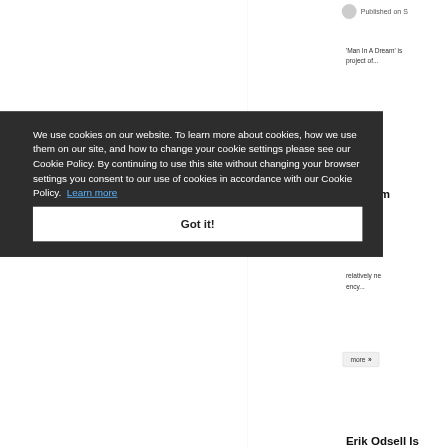Published on S
'Man In A Dream' is project of...
more »
owdram
blished on S
relatively ne ency...
more »
We use cookies on our website. To learn more about cookies, how we use them on our site, and how to change your cookie settings please see our Cookie Policy. By continuing to use this site without changing your browser settings you consent to our use of cookies in accordance with our Cookie Policy.  Learn more
Got it!
Erik Odsell Is